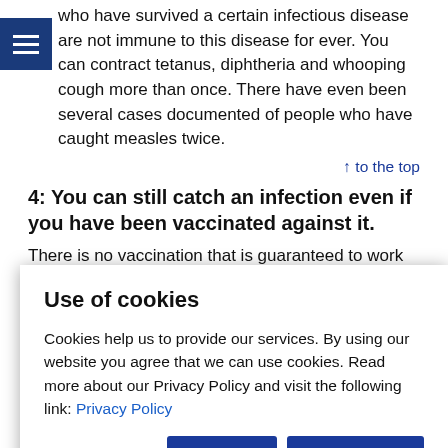who have survived a certain infectious disease are not immune to this disease for ever. You can contract tetanus, diphtheria and whooping cough more than once. There have even been several cases documented of people who have caught measles twice.
↑ to the top
4: You can still catch an infection even if you have been vaccinated against it.
There is no vaccination that is guaranteed to work
Use of cookies
Cookies help us to provide our services. By using our website you agree that we can use cookies. Read more about our Privacy Policy and visit the following link: Privacy Policy
children will catch the disease compared to two to three